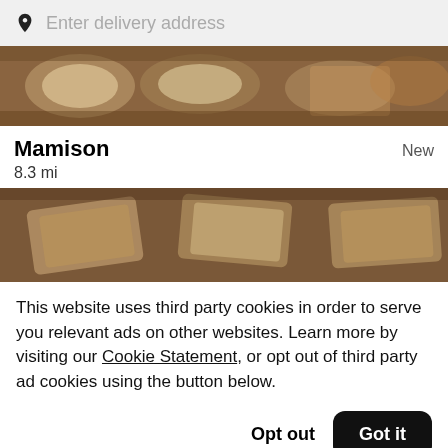Enter delivery address
[Figure (photo): Top partial food photo showing bowls and dishes of food from above]
Mamison   New
8.3 mi
[Figure (photo): Bottom food photo showing white square dishes with food items from above]
This website uses third party cookies in order to serve you relevant ads on other websites. Learn more by visiting our Cookie Statement, or opt out of third party ad cookies using the button below.
Opt out   Got it